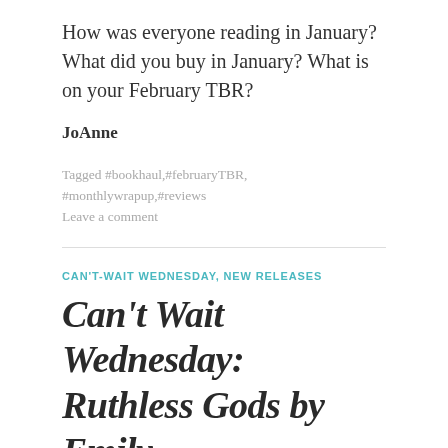How was everyone reading in January? What did you buy in January? What is on your February TBR?
JoAnne
Tagged #bookhaul, #februaryTBR, #monthlywrapup, #reviews
Leave a comment
CAN'T-WAIT WEDNESDAY, NEW RELEASES
Can't Wait Wednesday: Ruthless Gods by Emily A. Duncan